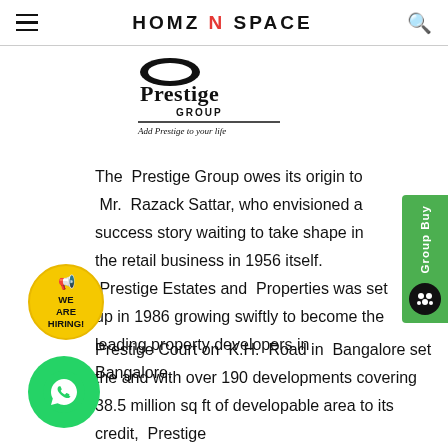HOMZ N SPACE
[Figure (logo): Prestige Group logo with text 'Add Prestige to your life']
The Prestige Group owes its origin to Mr. Razack Sattar, who envisioned a success story waiting to take shape in the retail business in 1956 itself. Prestige Estates and Properties was set up in 1986 growing swiftly to become the leading property developers in Bangalore.
Prestige Court on K.H. Road in Bangalore set the and with over 190 developments covering 38.5 million sq ft of developable area to its credit, Prestige